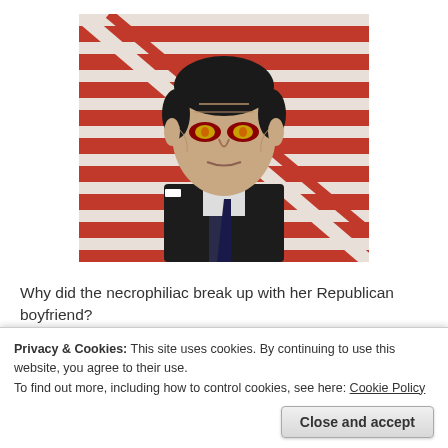[Figure (photo): Edited photo of an elderly man in a dark suit and tie, in front of American flags, with red/yellow glowing eyes added digitally.]
Why did the necrophiliac break up with her Republican boyfriend?
Privacy & Cookies: This site uses cookies. By continuing to use this website, you agree to their use.
To find out more, including how to control cookies, see here: Cookie Policy